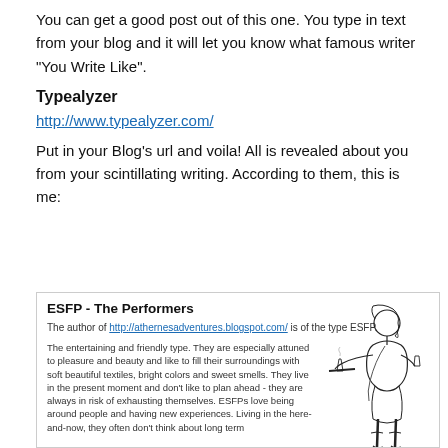You can get a good post out of this one.   You type in text from your blog and it will let you know what famous writer “You Write Like”.
Typealyzer
http://www.typealyzer.com/
Put in your Blog’s url and voila!  All is revealed about you from your scintillating writing.   According to them, this is me:
[Figure (screenshot): Screenshot of Typealyzer result showing ESFP - The Performers personality type for the blog http://athernesadventures.blogspot.com/, with descriptive text about the entertaining and friendly type, and a line-art illustration of a woman serving drinks.]